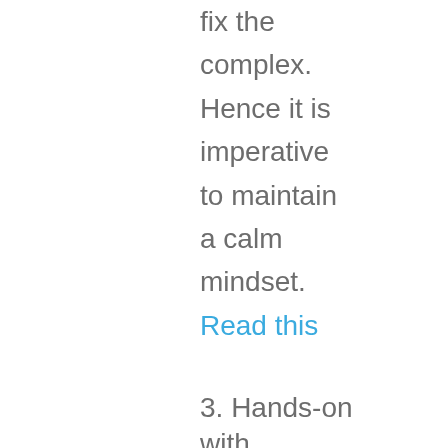fix the complex. Hence it is imperative to maintain a calm mindset. Read this
3. Hands-on with